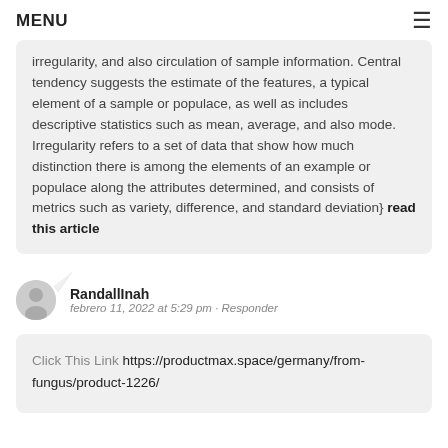MENU ≡
irregularity, and also circulation of sample information. Central tendency suggests the estimate of the features, a typical element of a sample or populace, as well as includes descriptive statistics such as mean, average, and also mode. Irregularity refers to a set of data that show how much distinction there is among the elements of an example or populace along the attributes determined, and consists of metrics such as variety, difference, and standard deviation} read this article
RandallInah
febrero 11, 2022 at 5:29 pm · Responder
Click This Link https://productmax.space/germany/from-fungus/product-1226/